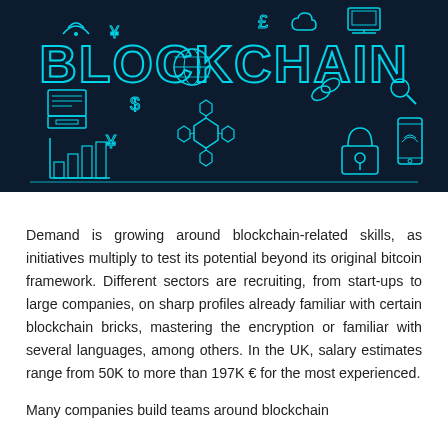[Figure (illustration): A dark navy-blue infographic banner with cyan neon-style icons: wifi, yen/pound/dollar currency symbols, cloud, laptop/monitor, globe, chain links, magnifying glass, bar chart, hexagonal network nodes, padlock, and smartphone. The word BLOCKCHAIN is displayed in large cyan outlined letters across the center.]
Demand is growing around blockchain-related skills, as initiatives multiply to test its potential beyond its original bitcoin framework. Different sectors are recruiting, from start-ups to large companies, on sharp profiles already familiar with certain blockchain bricks, mastering the encryption or familiar with several languages, among others. In the UK, salary estimates range from 50K to more than 197K € for the most experienced.
Many companies build teams around blockchain